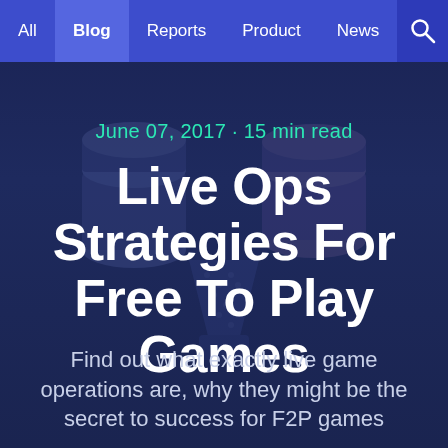All | Blog | Reports | Product | News
June 07, 2017 · 15 min read
Live Ops Strategies For Free To Play Games
Find out what exactly live game operations are, why they might be the secret to success for F2P games